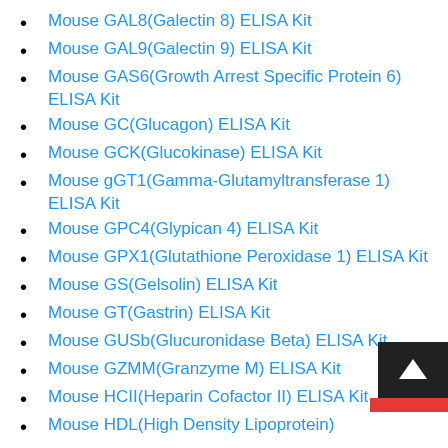Mouse GAL8(Galectin 8) ELISA Kit
Mouse GAL9(Galectin 9) ELISA Kit
Mouse GAS6(Growth Arrest Specific Protein 6) ELISA Kit
Mouse GC(Glucagon) ELISA Kit
Mouse GCK(Glucokinase) ELISA Kit
Mouse gGT1(Gamma-Glutamyltransferase 1) ELISA Kit
Mouse GPC4(Glypican 4) ELISA Kit
Mouse GPX1(Glutathione Peroxidase 1) ELISA Kit
Mouse GS(Gelsolin) ELISA Kit
Mouse GT(Gastrin) ELISA Kit
Mouse GUSb(Glucuronidase Beta) ELISA Kit
Mouse GZMM(Granzyme M) ELISA Kit
Mouse HCII(Heparin Cofactor II) ELISA Kit
Mouse HDL(High Density Lipoprotein)